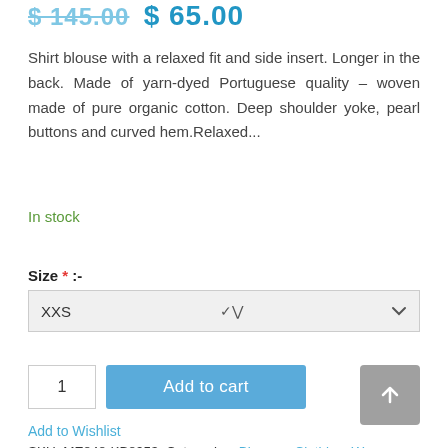$ 145.00 $ 65.00
Shirt blouse with a relaxed fit and side insert. Longer in the back. Made of yarn-dyed Portuguese quality – woven made of pure organic cotton. Deep shoulder yoke, pearl buttons and curved hem.Relaxed...
In stock
Size * :-
XXS
1
Add to cart
Add to Wishlist
SKU: ME848-KB8953 Categories: Blouses, Clothing, Womens